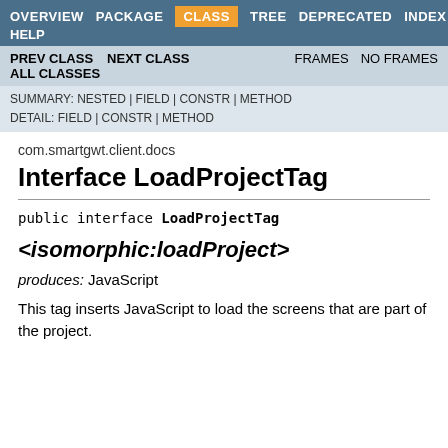OVERVIEW  PACKAGE  CLASS  TREE  DEPRECATED  INDEX  HELP
PREV CLASS  NEXT CLASS  FRAMES  NO FRAMES  ALL CLASSES
SUMMARY: NESTED | FIELD | CONSTR | METHOD  DETAIL: FIELD | CONSTR | METHOD
com.smartgwt.client.docs
Interface LoadProjectTag
public interface LoadProjectTag
<isomorphic:loadProject>
produces: JavaScript
This tag inserts JavaScript to load the screens that are part of the project.